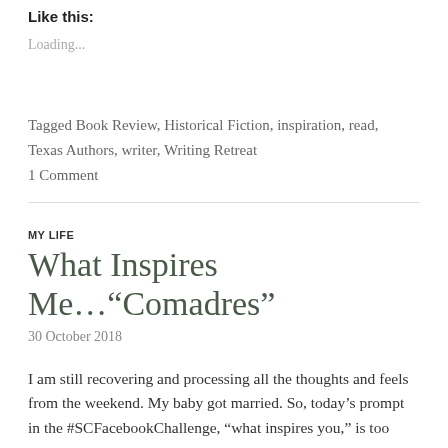Like this:
Loading...
Tagged Book Review, Historical Fiction, inspiration, read, Texas Authors, writer, Writing Retreat
1 Comment
MY LIFE
What Inspires Me…“Comadres”
30 October 2018
I am still recovering and processing all the thoughts and feels from the weekend. My baby got married. So, today’s prompt in the #SCFacebookChallenge, “what inspires you,” is too